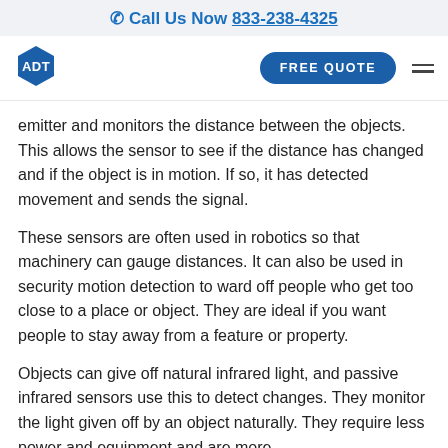Call Us Now 833-238-4325
[Figure (logo): ADT logo hexagon shape with white ADT text on blue background]
emitter and monitors the distance between the objects. This allows the sensor to see if the distance has changed and if the object is in motion. If so, it has detected movement and sends the signal.
These sensors are often used in robotics so that machinery can gauge distances. It can also be used in security motion detection to ward off people who get too close to a place or object. They are ideal if you want people to stay away from a feature or property.
Objects can give off natural infrared light, and passive infrared sensors use this to detect changes. They monitor the light given off by an object naturally. They require less power and equipment and are more